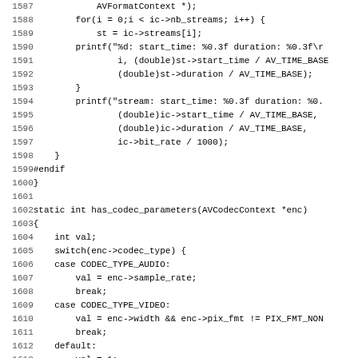[Figure (other): Source code listing in C, lines 1587-1619, showing functions related to codec parameters and stream decoding in what appears to be FFmpeg source code.]